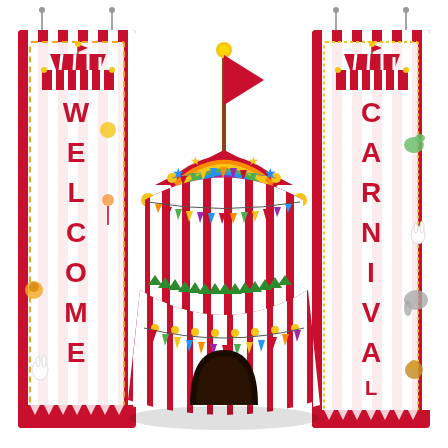[Figure (illustration): A carnival/circus themed product image showing three items: a tall vertical 'WELCOME' banner on the left with red and white stripes, circus characters (clown, lion, rabbit, acrobat), and dashed border; a large central illustration of a classic circus big top tent in red and white stripes with colorful triangle bunting flags, a red flag on top, and a dark entrance arch; and a tall vertical 'CARNIVAL' banner on the right with red and white stripes and circus animal characters. All on a white background.]